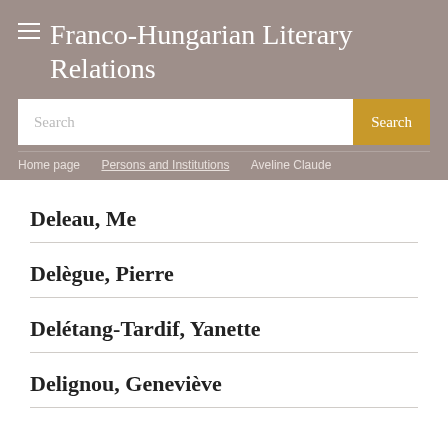Franco-Hungarian Literary Relations
Search
Home page / Persons and Institutions / Aveline Claude
Deleau, Me
Delègue, Pierre
Delétang-Tardif, Yanette
Delignou, Geneviève